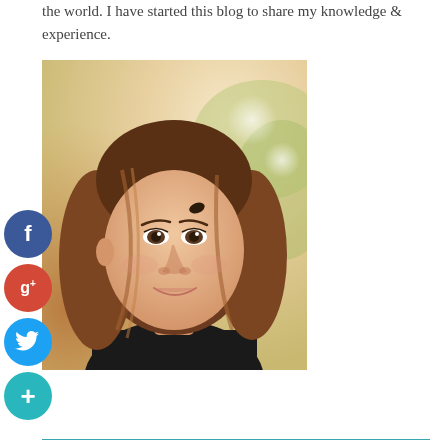the world. I have started this blog to share my knowledge & experience.
[Figure (photo): Portrait of a young woman with long brown hair, wearing a black top, smiling, with a soft outdoor bokeh background.]
[Figure (infographic): Social media share buttons: Facebook (blue circle with 'f'), Google+ (red circle with 'g+'), Twitter (light blue circle with bird icon), Plus/Add (teal circle with '+')]